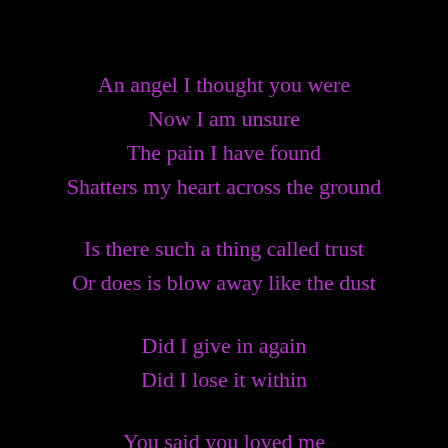An angel I thought you were
Now I am unsure
The pain I have found
Shatters my heart across the ground

Is there such a thing called trust
Or does is blow away like the dust

Did I give in again
Did I lose it within

You said you loved me
That you would never hurt me
Staring down the barrel of gun